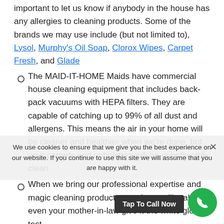important to let us know if anybody in the house has any allergies to cleaning products. Some of the brands we may use include (but not limited to), Lysol, Murphy's Oil Soap, Clorox Wipes, Carpet Fresh, and Glade
The MAID-IT-HOME Maids have commercial house cleaning equipment that includes back-pack vacuums with HEPA filters. They are capable of catching up to 99% of all dust and allergens. This means the air in your home will be cleaner and healthier when we're done, but your carpets and upholstery will be unbelievably clean.
When we bring our professional expertise and magic cleaning products together, we'll make even your mother-in-law give it the white glove test.
We're ecstatic that you're considering our housekeeping services when you could choose any maid service.